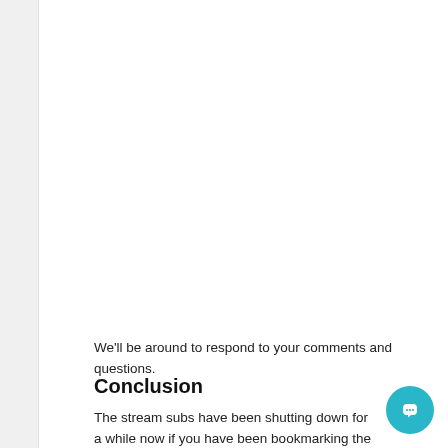We'll be around to respond to your comments and questions.
Conclusion
The stream subs have been shutting down for a while now if you have been bookmarking the best streaming sites you've been doing it wrong